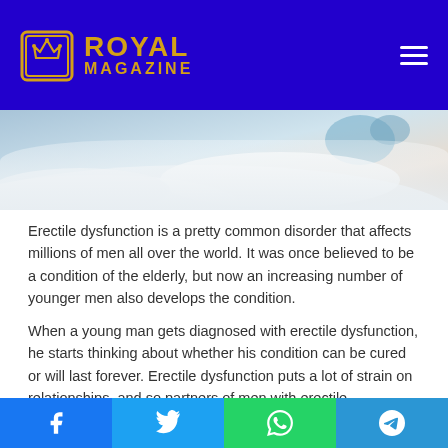ROYAL MAGAZINE
[Figure (photo): Close-up photo of white bedding/sheets with soft blue tones in the background, suggesting a bedroom scene.]
Erectile dysfunction is a pretty common disorder that affects millions of men all over the world. It was once believed to be a condition of the elderly, but now an increasing number of younger men also develops the condition.
When a young man gets diagnosed with erectile dysfunction, he starts thinking about whether his condition can be cured or will last forever. Erectile dysfunction puts a lot of strain on relationships, and so partners of men with erectile dysfunction may also be concerned about the same thing.
Facebook | Twitter | WhatsApp | Telegram